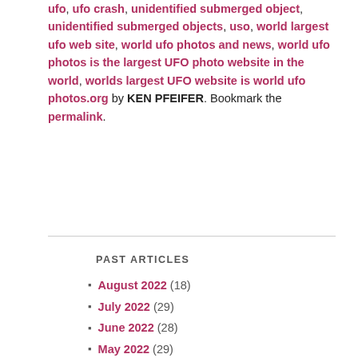ufo, ufo crash, unidentified submerged object, unidentified submerged objects, uso, world largest ufo web site, world ufo photos and news, world ufo photos is the largest UFO photo website in the world, worlds largest UFO website is world ufo photos.org by KEN PFEIFER. Bookmark the permalink.
PAST ARTICLES
August 2022 (18)
July 2022 (29)
June 2022 (28)
May 2022 (29)
April 2022 (25)
March 2022 (29)
February 2022 (27)
January 2022 (30)
December 2021 (31)
November 2021 (28)
October 2021 (27)
September 2021 (27)
August 2021 (27)